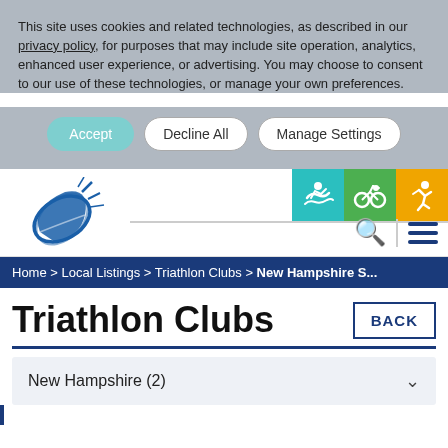This site uses cookies and related technologies, as described in our privacy policy, for purposes that may include site operation, analytics, enhanced user experience, or advertising. You may choose to consent to our use of these technologies, or manage your own preferences.
[Figure (screenshot): Cookie consent buttons: Accept, Decline All, Manage Settings]
[Figure (logo): Triathlon organization logo - blue leaf/feather shape with sunburst effect]
[Figure (infographic): Sport icons: swimming (teal), cycling (green), running (yellow/orange)]
Home > Local Listings > Triathlon Clubs > New Hampshire S...
Triathlon Clubs
BACK
New Hampshire (2)